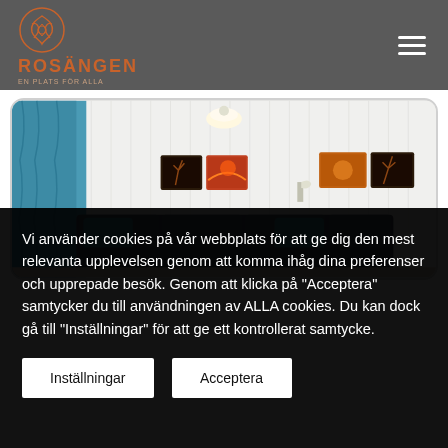ROSÄNGEN
[Figure (photo): Interior room photo showing a living area with blue curtains, a grey/blue sofa with teal pillows, white walls, a wall lamp, and decorative artwork paintings on the walls.]
Vi använder cookies på vår webbplats för att ge dig den mest relevanta upplevelsen genom att komma ihåg dina preferenser och upprepade besök. Genom att klicka på "Acceptera" samtycker du till användningen av ALLA cookies. Du kan dock gå till "Inställningar" för att ge ett kontrollerat samtycke.
Inställningar
Acceptera